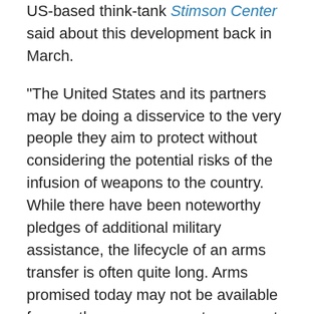US-based think-tank Stimson Center said about this development back in March.
“The United States and its partners may be doing a disservice to the very people they aim to protect without considering the potential risks of the infusion of weapons to the country. While there have been noteworthy pledges of additional military assistance, the lifecycle of an arms transfer is often quite long. Arms promised today may not be available for months or even years to come, at which point the situation on the ground will have evolved. Though these pledges have symbolic value they may have little real effect on the battlefield.”
The think tank furthermore warned: “From Afghanistan to Iraq to Colombia, well-intentioned transfers have a habit of outliving their political contexts, and risk fueling new